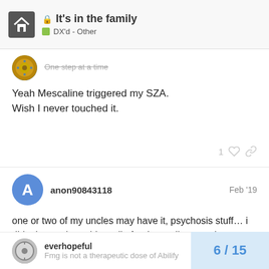It's in the family — DX'd - Other
One step at a time
Yeah Mescaline triggered my SZA.
Wish I never touched it.
anon90843118  Feb '19
one or two of my uncles may have it, psychosis stuff… i didnt know about this until after I was diagnosed psychotic …gosh if I knew about drugs and my possibly genetic psychosis predisposition …even alcohol wudda been a nono
everhopeful
Fmg is not a therapeutic dose of Abilify
6 / 15